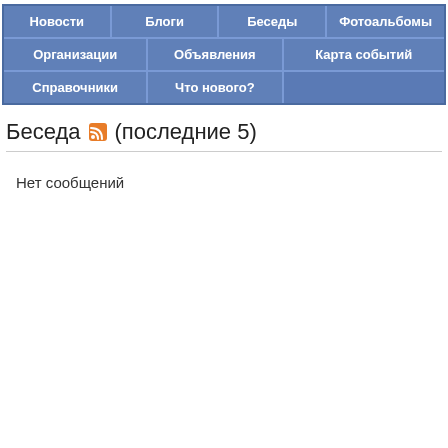[Figure (screenshot): Navigation menu with blue buttons in Russian: Новости, Блоги, Беседы, Фотоальбомы, Организации, Объявления, Карта событий, Справочники, Что нового?]
Беседа (последние 5)
Нет сообщений